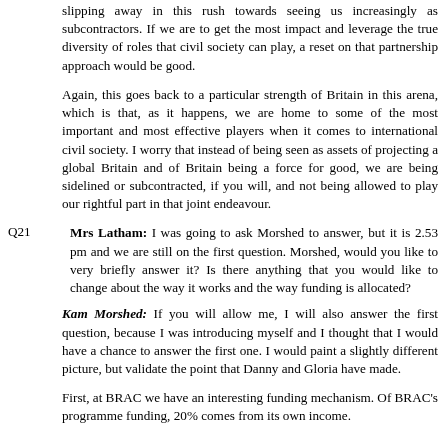slipping away in this rush towards seeing us increasingly as subcontractors. If we are to get the most impact and leverage the true diversity of roles that civil society can play, a reset on that partnership approach would be good.
Again, this goes back to a particular strength of Britain in this arena, which is that, as it happens, we are home to some of the most important and most effective players when it comes to international civil society. I worry that instead of being seen as assets of projecting a global Britain and of Britain being a force for good, we are being sidelined or subcontracted, if you will, and not being allowed to play our rightful part in that joint endeavour.
Q21   Mrs Latham: I was going to ask Morshed to answer, but it is 2.53 pm and we are still on the first question. Morshed, would you like to very briefly answer it? Is there anything that you would like to change about the way it works and the way funding is allocated?
Kam Morshed: If you will allow me, I will also answer the first question, because I was introducing myself and I thought that I would have a chance to answer the first one. I would paint a slightly different picture, but validate the point that Danny and Gloria have made.
First, at BRAC we have an interesting funding mechanism. Of BRAC's programme funding, 20% comes from its own income.